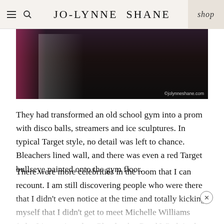JO-LYNNE SHANE  shop
[Figure (photo): Dark photograph of people at an event, taken in low light. A bright pink/magenta garment is visible on the left. Watermark reads ©jolynneshane.com in bottom right corner.]
They had transformed an old school gym into a prom with disco balls, streamers and ice sculptures. In typical Target style, no detail was left to chance. Bleachers lined wall, and there was even a red Target bullseye painted onto the gym floor.
There were more celebrities in the room that I can recount. I am still discovering people who were there that I didn't even notice at the time and totally kicking myself that I didn't get to meet Michelle Williams (who I just enjoyed as Glenda, the Good Witch in the new